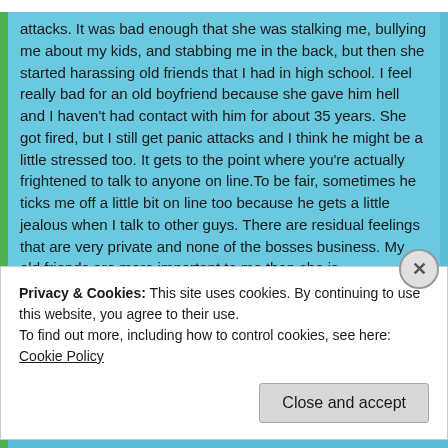attacks. It was bad enough that she was stalking me, bullying me about my kids, and stabbing me in the back, but then she started harassing old friends that I had in high school. I feel really bad for an old boyfriend because she gave him hell and I haven't had contact with him for about 35 years. She got fired, but I still get panic attacks and I think he might be a little stressed too. It gets to the point where you're actually frightened to talk to anyone on line.To be fair, sometimes he ticks me off a little bit on line too because he gets a little jealous when I talk to other guys. There are residual feelings that are very private and none of the bosses business. My old friends are more important to me than she is.
👍 0 👎 0 ℹ Rate This
Log in to Reply
Privacy & Cookies: This site uses cookies. By continuing to use this website, you agree to their use.
To find out more, including how to control cookies, see here: Cookie Policy
Close and accept